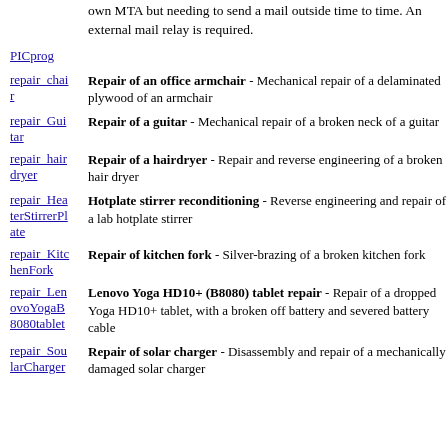own MTA but needing to send a mail outside time to time. An external mail relay is required.
PICprog
repair_chair - Repair of an office armchair - Mechanical repair of a delaminated plywood of an armchair
repair_Guitar - Repair of a guitar - Mechanical repair of a broken neck of a guitar
repair_hairdryer - Repair of a hairdryer - Repair and reverse engineering of a broken hair dryer
repair_HeaterStirrerPlate - Hotplate stirrer reconditioning - Reverse engineering and repair of a lab hotplate stirrer
repair_KitchenFork - Repair of kitchen fork - Silver-brazing of a broken kitchen fork
repair_LenovoYogaB8080tablet - Lenovo Yoga HD10+ (B8080) tablet repair - Repair of a dropped Yoga HD10+ tablet, with a broken off battery and severed battery cable
repair_SolarCharger - Repair of solar charger - Disassembly and repair of a mechanically damaged solar charger